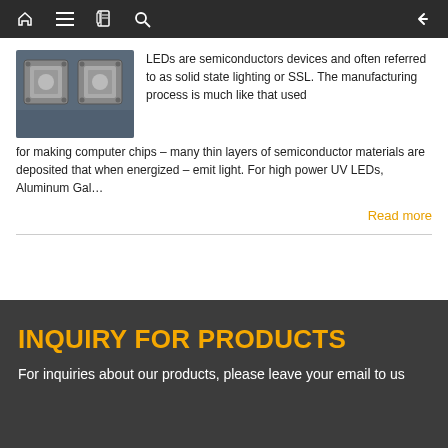Navigation bar with home, menu, book, search icons and back arrow
[Figure (photo): Two square LED chip components photographed on a blue surface]
LEDs are semiconductors devices and often referred to as solid state lighting or SSL. The manufacturing process is much like that used for making computer chips – many thin layers of semiconductor materials are deposited that when energized – emit light. For high power UV LEDs, Aluminum Gal…
Read more
INQUIRY FOR PRODUCTS
For inquiries about our products, please leave your email to us